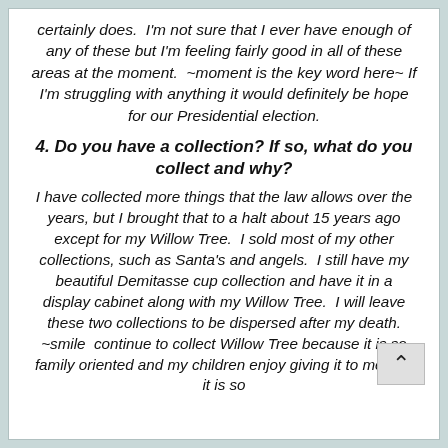certainly does.  I'm not sure that I ever have enough of any of these but I'm feeling fairly good in all of these areas at the moment.  ~moment is the key word here~ If I'm struggling with anything it would definitely be hope for our Presidential election.
4. Do you have a collection? If so, what do you collect and why?
I have collected more things that the law allows over the years, but I brought that to a halt about 15 years ago except for my Willow Tree.  I sold most of my other collections, such as Santa's and angels.  I still have my beautiful Demitasse cup collection and have it in a display cabinet along with my Willow Tree.  I will leave these two collections to be dispersed after my death. ~smile continue to collect Willow Tree because it is so family oriented and my children enjoy giving it to me and it is so